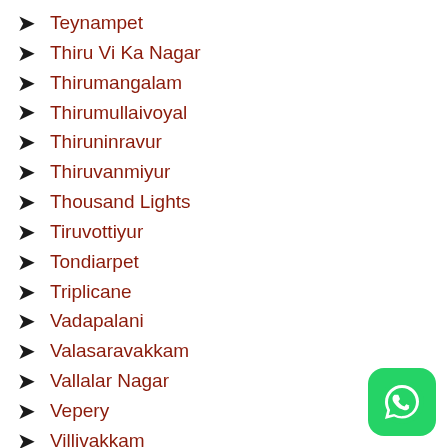Teynampet
Thiru Vi Ka Nagar
Thirumangalam
Thirumullaivoyal
Thiruninravur
Thiruvanmiyur
Thousand Lights
Tiruvottiyur
Tondiarpet
Triplicane
Vadapalani
Valasaravakkam
Vallalar Nagar
Vepery
Villivakkam
Virugambakkam
[Figure (logo): WhatsApp logo button — green rounded square with white phone/chat icon]